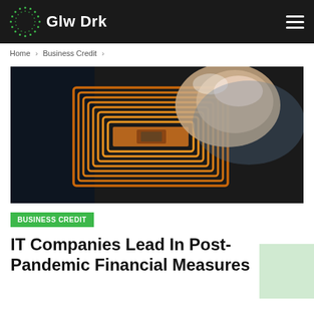Glw Drk
Home > Business Credit >
[Figure (photo): A hand holding a transparent RFID/NFC chip on an orange copper coil antenna against a dark background]
BUSINESS CREDIT
IT Companies Lead In Post-Pandemic Financial Measures